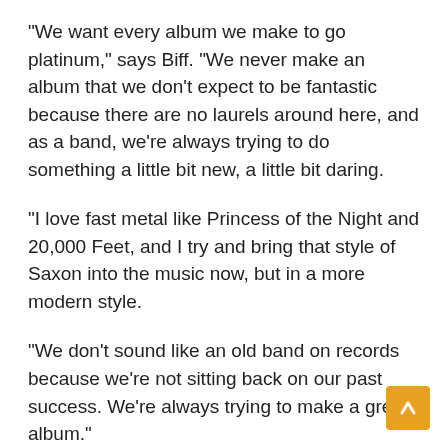“We want every album we make to go platinum,” says Biff. “We never make an album that we don’t expect to be fantastic because there are no laurels around here, and as a band, we’re always trying to do something a little bit new, a little bit daring.
“I love fast metal like Princess of the Night and 20,000 Feet, and I try and bring that style of Saxon into the music now, but in a more modern style.
“We don’t sound like an old band on records because we’re not sitting back on our past success. We’re always trying to make a great album.”
The intensity on the new album is fired by two events, as Biff explains. “It’s been a difficult two years,” he says, “because I had the heart attack back in September 2019, so things went a bit more do and for the band...